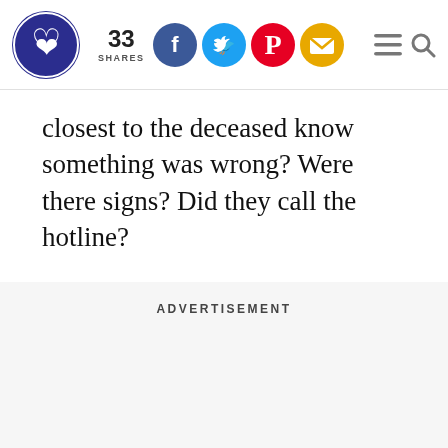33 SHARES [social share icons: Facebook, Twitter, Pinterest, Email] [hamburger menu] [search]
closest to the deceased know something was wrong? Were there signs? Did they call the hotline?
ADVERTISEMENT